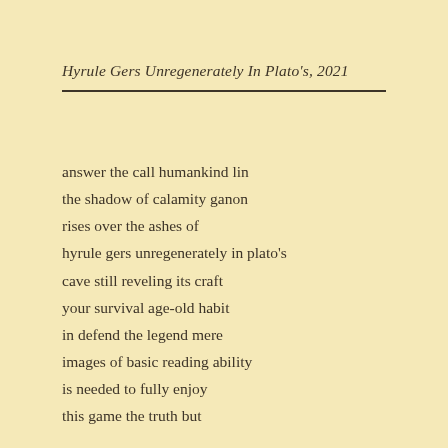Hyrule Gers Unregenerately In Plato's, 2021
answer the call humankind lin
the shadow of calamity ganon
rises over the ashes of
hyrule gers unregenerately in plato's
cave still reveling its craft
your survival age-old habit
in defend the legend mere
images of basic reading ability
is needed to fully enjoy
this game the truth but